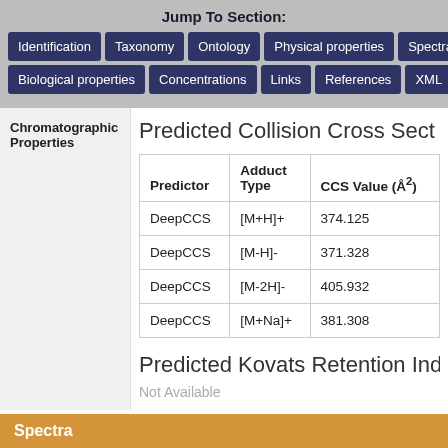Jump To Section:
Identification | Taxonomy | Ontology | Physical properties | Spectra
Biological properties | Concentrations | Links | References | XML
Chromatographic Properties
Predicted Collision Cross Section
| Predictor | Adduct Type | CCS Value (Å²) |
| --- | --- | --- |
| DeepCCS | [M+H]+ | 374.125 |
| DeepCCS | [M-H]- | 371.328 |
| DeepCCS | [M-2H]- | 405.932 |
| DeepCCS | [M+Na]+ | 381.308 |
Predicted Kovats Retention Index
Not Available
Spectra